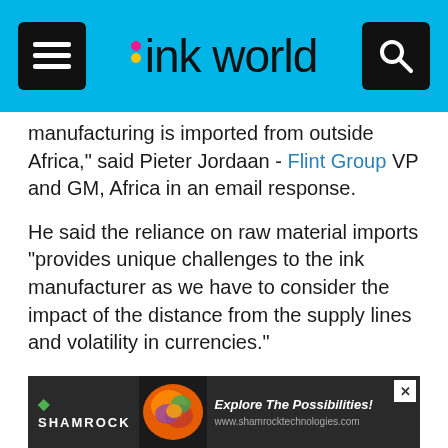ink world
manufacturing is imported from outside Africa," said Pieter Jordaan - Flint Group VP and GM, Africa in an email response.
He said the reliance on raw material imports "provides unique challenges to the ink manufacturer as we have to consider the impact of the distance from the supply lines and volatility in currencies."
Flint Group launched a joint venture with South Africa's Continental Printing Inks and Eagle Ink Systems as part of its strategy to grow in emerging markets. The company said the JV combined two of the leading ink and coatings suppliers to the Packaging and Print Media markets in South Africa and the Sub-Saharan region "Distance from
[Figure (other): Shamrock Technologies advertisement banner with colorful splash image and text: Explore The Possibilities! www.shamrocktechnologies.com]